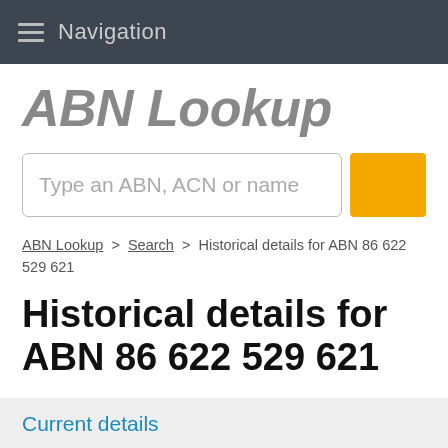Navigation
ABN Lookup
Type an ABN, ACN or name
ABN Lookup > Search > Historical details for ABN 86 622 529 621
Historical details for ABN 86 622 529 621
Current details